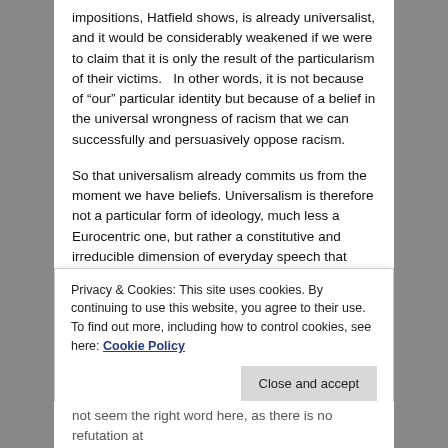impositions, Hatfield shows, is already universalist, and it would be considerably weakened if we were to claim that it is only the result of the particularism of their victims.   In other words, it is not because of “our” particular identity but because of a belief in the universal wrongness of racism that we can successfully and persuasively oppose racism.
So that universalism already commits us from the moment we have beliefs. Universalism is therefore not a particular form of ideology, much less a Eurocentric one, but rather a constitutive and irreducible dimension of everyday speech that cannot be disavowed without a cost. The cost is the reduction of thinking to an identitarian program–we,
Privacy & Cookies: This site uses cookies. By continuing to use this website, you agree to their use.
To find out more, including how to control cookies, see here: Cookie Policy
not seem the right word here, as there is no refutation at